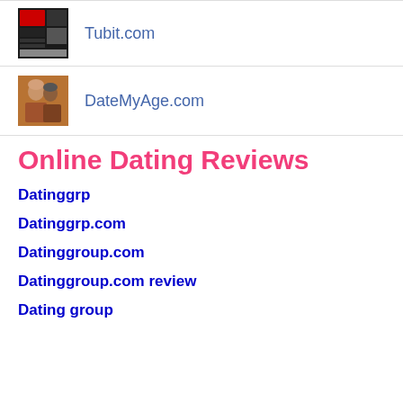[Figure (screenshot): Partial thumbnail image at top, cropped]
Tubit.com
[Figure (photo): Thumbnail photo of a couple (older man and woman)]
DateMyAge.com
Online Dating Reviews
Datinggrp
Datinggrp.com
Datinggroup.com
Datinggroup.com review
Dating group